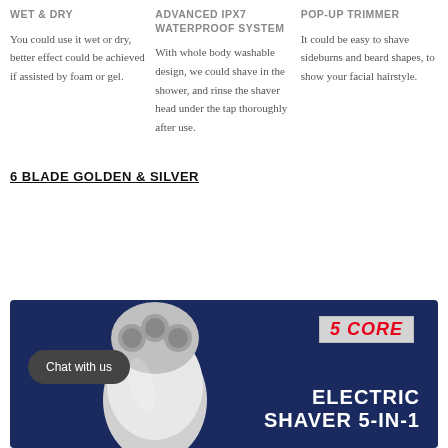WET & DRY
ADVANCED IPX7 WATERPROOF SYSTEM
POP-UP TRIMMER
You could use it wet or dry, better effect could be achieved if assisted by foam or gel.
With whole body washable design, we could shave in the shower, and rinse the shaver head under the tap thoroughly after use.
It could be easy to shave sideburns and beard shapes, to show your facial hairstyle.
6 BLADE GOLDEN & SILVER
[Figure (photo): Electric shaver product banner with 5 CORE logo, shaver image, 'Chat with us' button, and text 'ELECTRIC SHAVER 5-IN-1' on dark navy background]